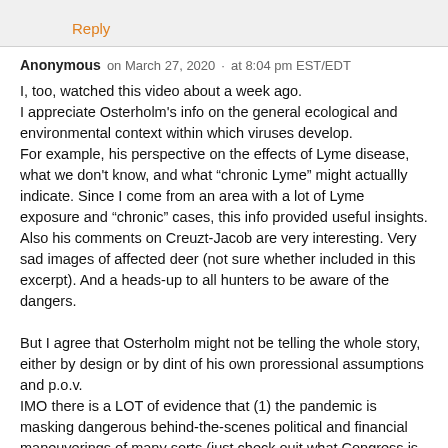Reply
Anonymous   on March 27, 2020  ·  at 8:04 pm EST/EDT
I, too, watched this video about a week ago.
I appreciate Osterholm's info on the general ecological and environmental context within which viruses develop.
For example, his perspective on the effects of Lyme disease, what we don't know, and what "chronic Lyme" might actuallly indicate. Since I come from an area with a lot of Lyme exposure and "chronic" cases, this info provided useful insights. Also his comments on Creuzt-Jacob are very interesting. Very sad images of affected deer (not sure whether included in this excerpt). And a heads-up to all hunters to be aware of the dangers.

But I agree that Osterholm might not be telling the whole story, either by design or by dint of his own proressional assumptions and p.o.v.
IMO there is a LOT of evidence that (1) the pandemic is masking dangerous behind-the-scenes political and financial maneuverings of many sorts (just check ouit what Congress is up to, plus Pepe's reportage on the scandal in France, just for